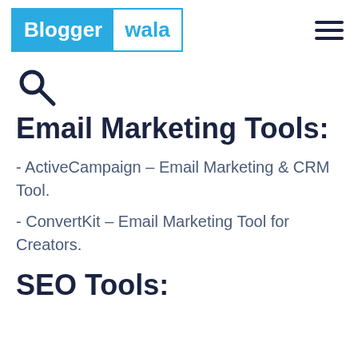Blogger wala
[Figure (other): Search icon (magnifying glass)]
Email Marketing Tools:
- ActiveCampaign – Email Marketing & CRM Tool.
- ConvertKit – Email Marketing Tool for Creators.
SEO Tools: